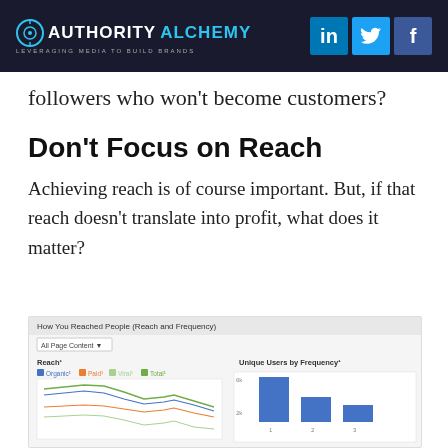AUTHORITY ALCHEMY — Leveraging Media to Build Brands | LinkedIn | Twitter | Facebook
followers who won't become customers?
Don't Focus on Reach
Achieving reach is of course important. But, if that reach doesn't translate into profit, what does it matter?
[Figure (screenshot): Facebook analytics screenshot titled 'How You Reached People (Reach and Frequency)' showing a line chart of Organic, Paid, Viral, and Total reach over time, and a bar chart of Unique Users by Frequency.]